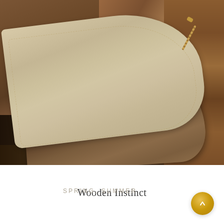[Figure (photo): A leather and wood clutch bag resting on rustic wooden logs. The bag has a light beige/cream leather flap and a dark walnut-toned wooden body. A gold chain strap is partially visible. The background shows rough-hewn logs in warm brown tones.]
Wooden Instinct
SPRING, SUMMER